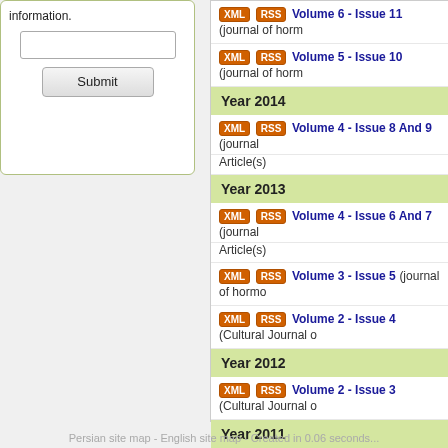information.
Submit
Volume 6 - Issue 11 (journal of hormo...
Volume 5 - Issue 10 (journal of horm...
Year 2014
Volume 4 - Issue 8 And 9 (journal ... Article(s)
Year 2013
Volume 4 - Issue 6 And 7 (journal ... Article(s)
Volume 3 - Issue 5 (journal of hormo...
Volume 2 - Issue 4 (Cultural Journal o...
Year 2012
Volume 2 - Issue 3 (Cultural Journal o...
Year 2011
Volume 1 - Issue 1 And 2 (Cultural Jo...
Click here to ...
Persian site map - English site map - Created in 0.06 seconds...